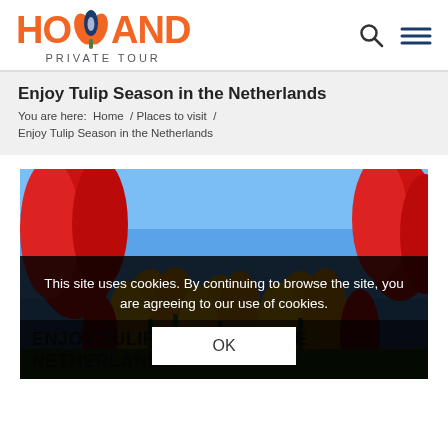HOLLAND PRIVATE TOUR
Enjoy Tulip Season in the Netherlands
You are here:  Home  /  Places to visit  /  Enjoy Tulip Season in the Netherlands
[Figure (photo): Red and yellow tulips photographed from below against a blue sky]
This site uses cookies. By continuing to browse the site, you are agreeing to our use of cookies.
OK
ENJOY TULIP SEASON IN THE NETHERLANDS